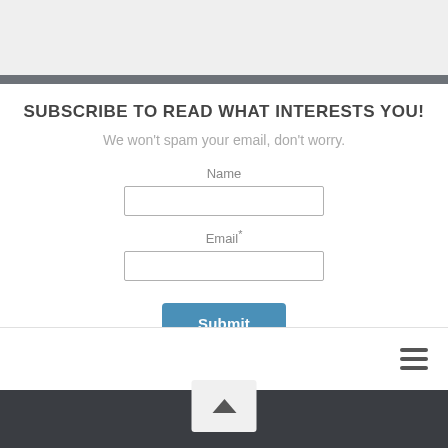SUBSCRIBE TO READ WHAT INTERESTS YOU!
We won't spam your email, don't worry.
Name
Email*
Submit